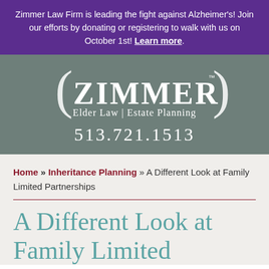Zimmer Law Firm is leading the fight against Alzheimer's! Join our efforts by donating or registering to walk with us on October 1st! Learn more.
[Figure (logo): Zimmer Elder Law | Estate Planning logo with parenthesis marks and trademark symbol, white text on gray background, phone number 513.721.1513]
Home » Inheritance Planning » A Different Look at Family Limited Partnerships
A Different Look at Family Limited